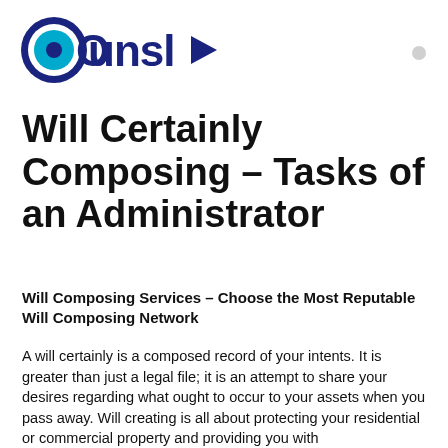[Figure (logo): Counsl logo with circular icon (dark blue ring with cyan center dot) and text 'Ounsl' with a dark blue right-pointing arrow]
Will Certainly Composing – Tasks of an Administrator
Will Composing Services – Choose the Most Reputable Will Composing Network
A will certainly is a composed record of your intents. It is greater than just a legal file; it is an attempt to share your desires regarding what ought to occur to your assets when you pass away. Will creating is all about protecting your residential or commercial property and providing you with